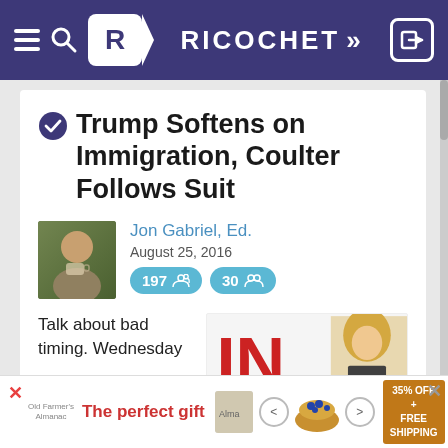Ricochet
Trump Softens on Immigration, Coulter Follows Suit
Jon Gabriel, Ed.
August 25, 2016
197 comments · 30 members
Talk about bad timing. Wednesday
[Figure (photo): Advertisement banner showing 'The perfect gift' with food imagery and 35% off + free shipping offer]